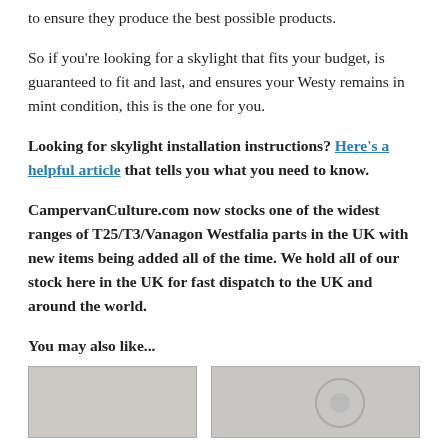to ensure they produce the best possible products.
So if you’re looking for a skylight that fits your budget, is guaranteed to fit and last, and ensures your Westy remains in mint condition, this is the one for you.
Looking for skylight installation instructions? Here’s a helpful article that tells you what you need to know.
CampervanCulture.com now stocks one of the widest ranges of T25/T3/Vanagon Westfalia parts in the UK with new items being added all of the time. We hold all of our stock here in the UK for fast dispatch to the UK and around the world.
You may also like...
[Figure (photo): Left product photo placeholder - grey/beige rectangle]
[Figure (photo): Right product photo - circular element visible on grey surface]